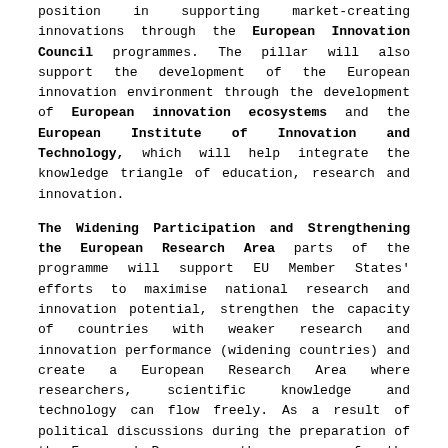position in supporting market-creating innovations through the European Innovation Council programmes. The pillar will also support the development of the European innovation environment through the development of European innovation ecosystems and the European Institute of Innovation and Technology, which will help integrate the knowledge triangle of education, research and innovation.
The Widening Participation and Strengthening the European Research Area parts of the programme will support EU Member States' efforts to maximise national research and innovation potential, strengthen the capacity of countries with weaker research and innovation performance (widening countries) and create a European Research Area where researchers, scientific knowledge and technology can flow freely. As a result of political discussions during the preparation of the Framework Programme, the resources for the Widening Actions have been increased to 3.3% of the Horizon Europe budget.
Introduced as a new instrument of Horizon Europe, the missions aim to achieve spectacular results in addressing major societal challenges within given timeframes by coordinating EU, national, regional resources and